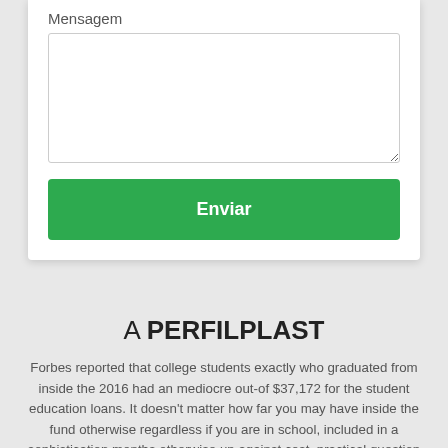Mensagem
Enviar
A PERFILPLAST
Forbes reported that college students exactly who graduated from inside the 2016 had an mediocre out-of $37,172 for the student education loans. It doesn't matter how far you may have inside the fund otherwise regardless if you are in school, included in a sophistication months otherwise up against cost, practical question regarding ideas on how to pay student loans step one was yes getting greatest off mind. Make use of these four measures to handle and you will repay their financing.